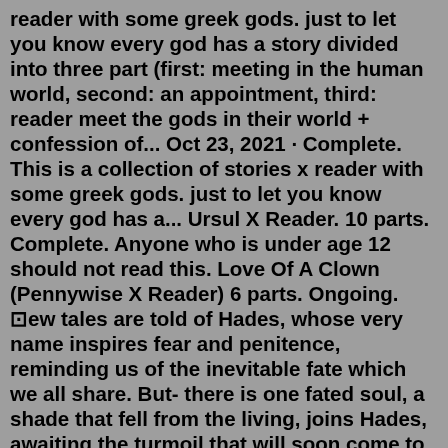reader with some greek gods. just to let you know every god has a story divided into three part (first: meeting in the human world, second: an appointment, third: reader meet the gods in their world + confession of... Oct 23, 2021 · Complete. This is a collection of stories x reader with some greek gods. just to let you know every god has a... Ursul X Reader. 10 parts. Complete. Anyone who is under age 12 should not read this. Love Of A Clown (Pennywise X Reader) 6 parts. Ongoing. ⊡ew tales are told of Hades, whose very name inspires fear and penitence, reminding us of the inevitable fate which we all share. But- there is one fated soul, a shade that fell from the living, joins Hades, awaiting the turmoil that will soon come to pass... Like many others. Unlike the anguished, ... Crazy in Love II Leo ValdezHades comes closer until his nose is level to Zeus'. "You may be God on Olympus, but you don't rule me. I'm God of the Underworld, husband to Mother Nature". His tone isn't friendly. At all. It's real quiet and menacing. "I will show you how I rule and I'll tell Zer...